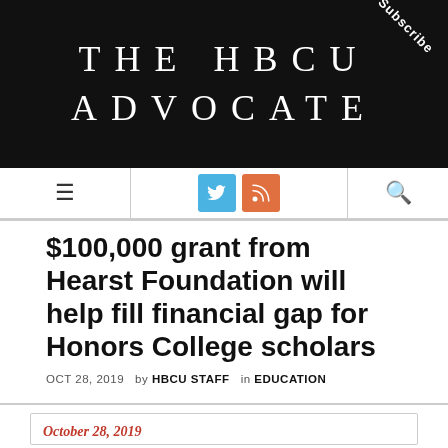THE HBCU ADVOCATE
[Figure (logo): Subscribe ribbon in top-right corner of black banner]
$100,000 grant from Hearst Foundation will help fill financial gap for Honors College scholars
OCT 28, 2019  by HBCU STAFF  in EDUCATION
October 28, 2019